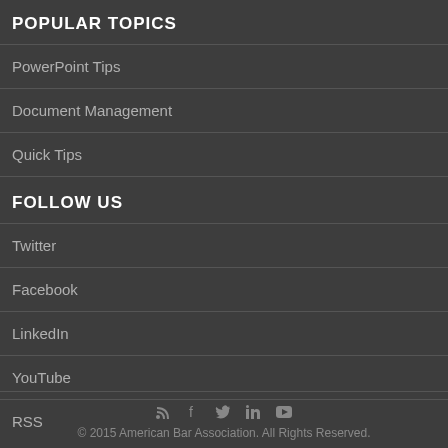POPULAR TOPICS
PowerPoint Tips
Document Management
Quick Tips
FOLLOW US
Twitter
Facebook
LinkedIn
YouTube
RSS
© 2015 American Bar Association. All Rights Reserved.